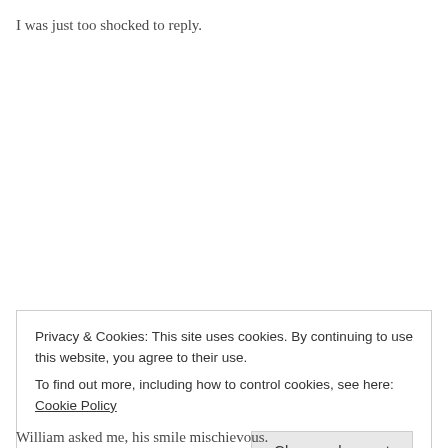I was just too shocked to reply.
Privacy & Cookies: This site uses cookies. By continuing to use this website, you agree to their use.
To find out more, including how to control cookies, see here: Cookie Policy
Close and accept
William asked me, his smile mischievous.